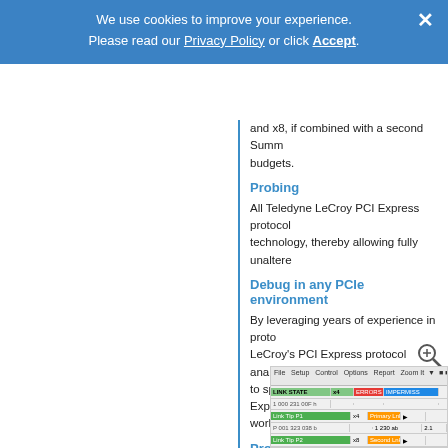We use cookies to improve your experience. Please read our Privacy Policy or click Accept.
and x8, if combined with a second Summ budgets.
Probing
All Teledyne LeCroy PCI Express protocol technology, thereby allowing fully unaltered
Debug in any PCIe environment
By leveraging years of experience in proto LeCroy's PCI Express protocol analyzers to speed the development of PCI Express workstations, bridges, and switches.
Product Features
[Figure (screenshot): Screenshot of a PCI Express protocol analyzer software interface showing a tabular data view with colored rows and toolbar.]